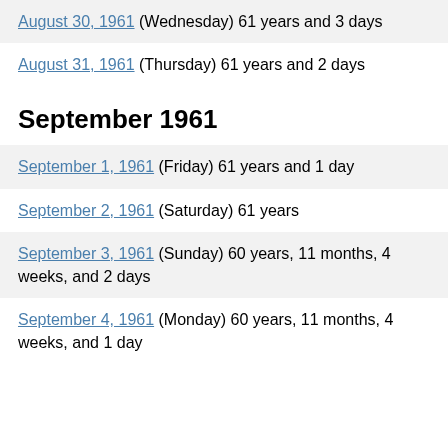August 30, 1961 (Wednesday) 61 years and 3 days
August 31, 1961 (Thursday) 61 years and 2 days
September 1961
September 1, 1961 (Friday) 61 years and 1 day
September 2, 1961 (Saturday) 61 years
September 3, 1961 (Sunday) 60 years, 11 months, 4 weeks, and 2 days
September 4, 1961 (Monday) 60 years, 11 months, 4 weeks, and 1 day